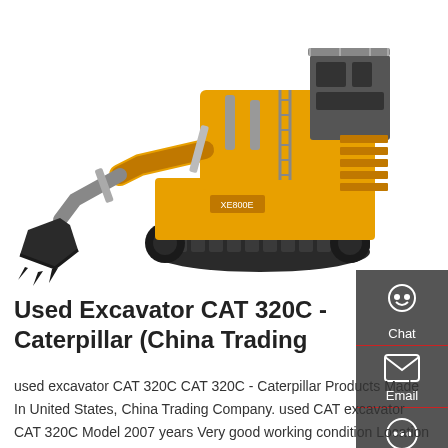[Figure (photo): Large yellow CAT 320C excavator on white background, showing full side/front view with bucket, arm, tracks, and cab]
Used Excavator CAT 320C - Caterpillar (China Trading
used excavator CAT 320C CAT 320C - Caterpillar Products Made In United States, China Trading Company. used CAT excavator CAT 320C Model 2007 years Very good working condition Location in Shanghai,China We ( Wanjie Construction Machinery Trading Co., Ltd ) have been